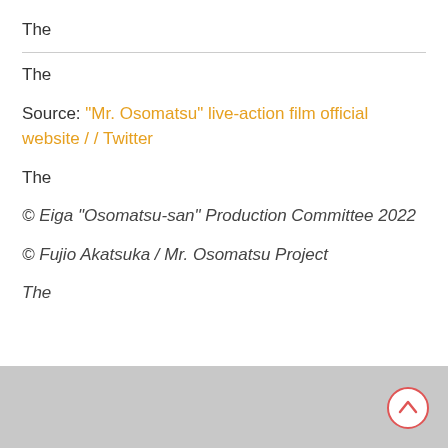The
The
Source: "Mr. Osomatsu" live-action film official website / / Twitter
The
© Eiga "Osomatsu-san" Production Committee 2022
© Fujio Akatsuka / Mr. Osomatsu Project
The
[Figure (other): Grey footer bar with a red-outlined circular scroll-to-top button containing an upward arrow icon]